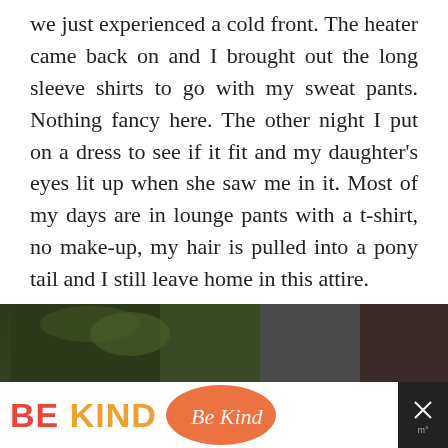we just experienced a cold front. The heater came back on and I brought out the long sleeve shirts to go with my sweat pants. Nothing fancy here. The other night I put on a dress to see if it fit and my daughter's eyes lit up when she saw me in it. Most of my days are in lounge pants with a t-shirt, no make-up, my hair is pulled into a pony tail and I still leave home in this attire.
GASP..... I keep telling myself that I will spend more time on myself but life and time get in the way.
[Figure (photo): Partial photo strip at bottom of page showing dark image with green/brown tones, partially obscured by advertisement overlay]
[Figure (other): Advertisement banner at bottom: 'BE KIND' text in red and orange with decorative script overlay and close buttons]